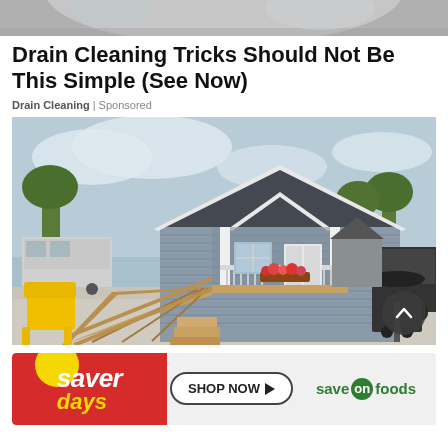[Figure (photo): Partial view of a car or object at the top of the page — cropped image strip]
Drain Cleaning Tricks Should Not Be This Simple (See Now)
Drain Cleaning | Sponsored
[Figure (photo): A small gray cottage-style house with white trim, a front porch with flower box, wooden wheelchair ramp with stairs, a yellow Adirondack chair on the left, and a grill on the right. Other similar small houses visible in the background.]
[Figure (other): Saver Days advertisement banner with Save On Foods branding and SHOP NOW button]